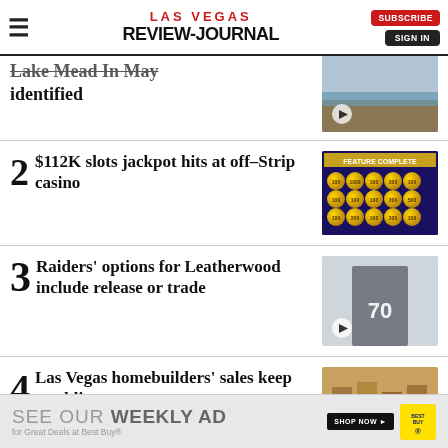LAS VEGAS REVIEW-JOURNAL
Lake Mead in May identified
2 $112K slots jackpot hits at off-Strip casino
3 Raiders' options for Leatherwood include release or trade
4 Las Vegas homebuilders' sales keep tumbling
SEE OUR WEEKLY AD for Great Deals at Best Buy®